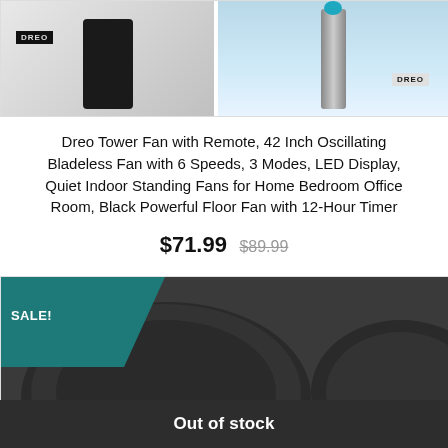[Figure (photo): Two views of a Dreo tower/bladeless fan on white background]
Dreo Tower Fan with Remote, 42 Inch Oscillating Bladeless Fan with 6 Speeds, 3 Modes, LED Display, Quiet Indoor Standing Fans for Home Bedroom Office Room, Black Powerful Floor Fan with 12-Hour Timer
$71.99  $89.99
[Figure (photo): Close-up of a dark two-burner electric hot plate stovetop with SALE! badge]
Out of stock